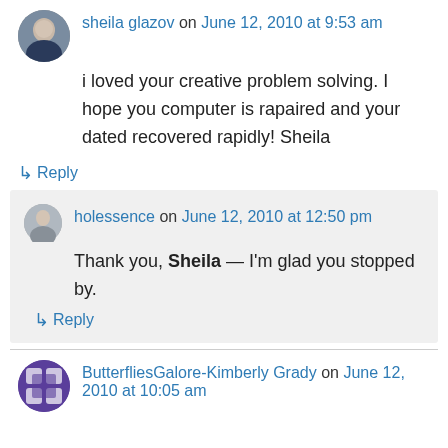sheila glazov on June 12, 2010 at 9:53 am
i loved your creative problem solving. I hope you computer is rapaired and your dated recovered rapidly! Sheila
↳ Reply
holessence on June 12, 2010 at 12:50 pm
Thank you, Sheila — I'm glad you stopped by.
↳ Reply
ButterfliesGalore-Kimberly Grady on June 12, 2010 at 10:05 am